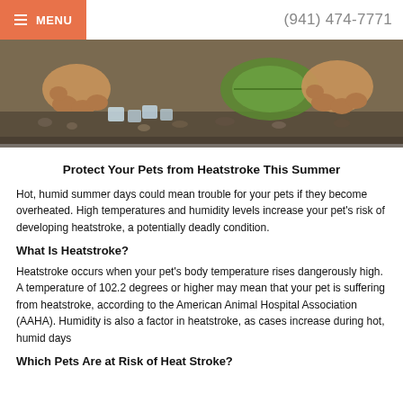MENU  (941) 474-7771
[Figure (photo): Close-up photo of a dog lying on gravel with ice cubes and a green leaf/vegetable nearby, paws visible]
Protect Your Pets from Heatstroke This Summer
Hot, humid summer days could mean trouble for your pets if they become overheated. High temperatures and humidity levels increase your pet's risk of developing heatstroke, a potentially deadly condition.
What Is Heatstroke?
Heatstroke occurs when your pet's body temperature rises dangerously high. A temperature of 102.2 degrees or higher may mean that your pet is suffering from heatstroke, according to the American Animal Hospital Association (AAHA). Humidity is also a factor in heatstroke, as cases increase during hot, humid days
Which Pets Are at Risk of Heat Stroke?